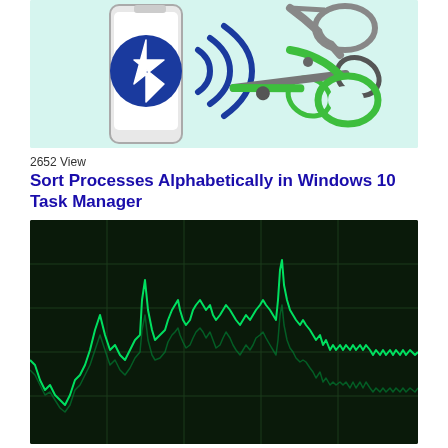[Figure (illustration): Illustration of a smartphone with Bluetooth signal waves and green scissors cutting the signal, on a light teal/mint background]
2652 View
Sort Processes Alphabetically in Windows 10 Task Manager
[Figure (screenshot): Screenshot of Windows 10 Task Manager performance graph showing CPU usage as bright green jagged line chart on dark background with grid lines]